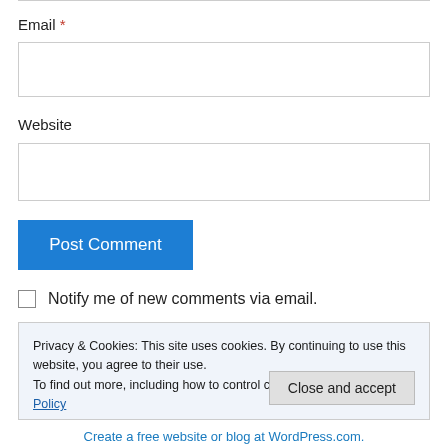Email *
Website
Post Comment
Notify me of new comments via email.
Privacy & Cookies: This site uses cookies. By continuing to use this website, you agree to their use.
To find out more, including how to control cookies, see here: Cookie Policy
Close and accept
Create a free website or blog at WordPress.com.